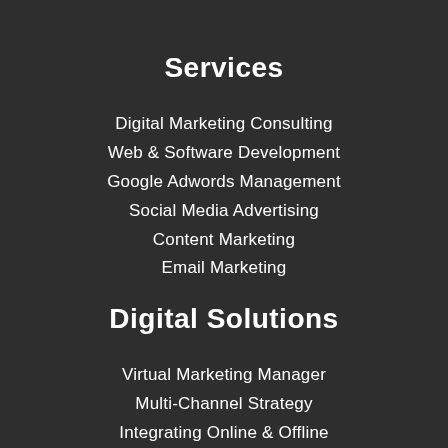Services
Digital Marketing Consulting
Web & Software Development
Google Adwords Management
Social Media Advertising
Content Marketing
Email Marketing
Digital Solutions
Virtual Marketing Manager
Multi-Channel Strategy
Integrating Online & Offline